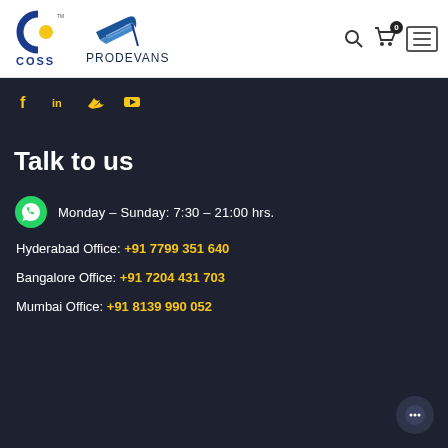[Figure (logo): COSS and PRODEVANS logos in navigation header]
[Figure (infographic): Social media icons: Facebook, LinkedIn, Twitter, YouTube in gold/yellow on dark background]
Talk to us
Monday - Sunday: 7:30 - 21:00 hrs.
Hyderabad Office: +91 7799 351 640
Bangalore Office: +91 7204 431 703
Mumbai Office: +91 8139 990 052